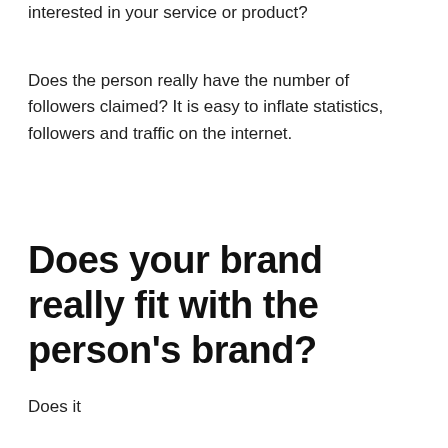interested in your service or product?
Does the person really have the number of followers claimed? It is easy to inflate statistics, followers and traffic on the internet.
Does your brand really fit with the person’s brand?
Does it...